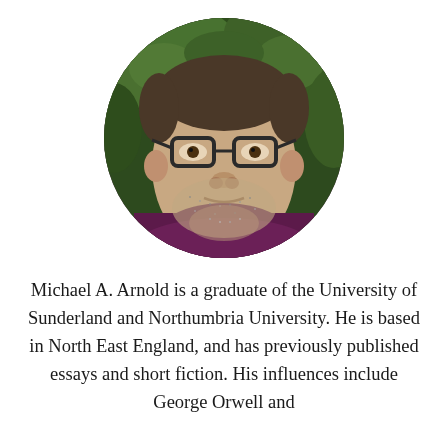[Figure (photo): Circular cropped portrait photo of a man wearing glasses and a dark maroon/purple t-shirt, with green leafy foliage visible in the background. The man has stubble/beard and is looking at the camera.]
Michael A. Arnold is a graduate of the University of Sunderland and Northumbria University. He is based in North East England, and has previously published essays and short fiction. His influences include George Orwell and